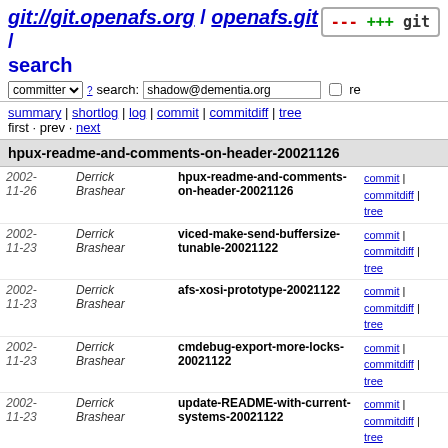git://git.openafs.org / openafs.git / search
committer search: shadow@dementia.org re
summary | shortlog | log | commit | commitdiff | tree
first · prev · next
hpux-readme-and-comments-on-header-20021126
| date | author | commit | links |
| --- | --- | --- | --- |
| 2002-11-26 | Derrick Brashear | hpux-readme-and-comments-on-header-20021126 | commit | commitdiff | tree |
| 2002-11-23 | Derrick Brashear | viced-make-send-buffersize-tunable-20021122 | commit | commitdiff | tree |
| 2002-11-23 | Derrick Brashear | afs-xosi-prototype-20021122 | commit | commitdiff | tree |
| 2002-11-23 | Derrick Brashear | cmdebug-export-more-locks-20021122 | commit | commitdiff | tree |
| 2002-11-23 | Derrick Brashear | update-README-with-current-systems-20021122 | commit | commitdiff | tree |
| 2002-11-22 | Derrick Brashear | cachemgr-warn-solaris-users-of-dangers-of-logging-20021122 | commit | commitdiff | tree |
| 2002-11-20 | Kris Van Hees | linux-flock-downmap-64-ops-20021120 | commit | commitdiff | tree |
| 2002-11-16 | Derrick Brashear | acinclude-check-sizeof-long-20021115 | commit | commitdiff | tree |